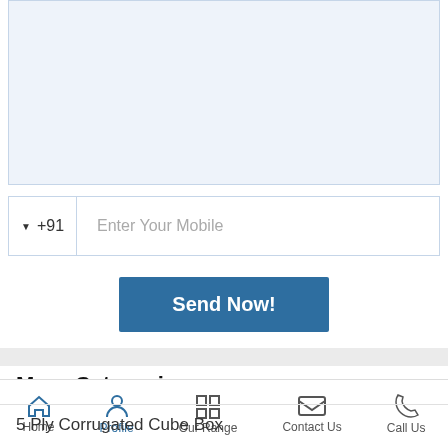Kindly Describe Your Requirement:
▼ +91    Enter Your Mobile
Send Now!
More Categories
5 Ply Corrugated Cube Box
Reusable Cotton Mask
Bridal Lehenga
Home  Profile  Our Range  Contact Us  Call Us